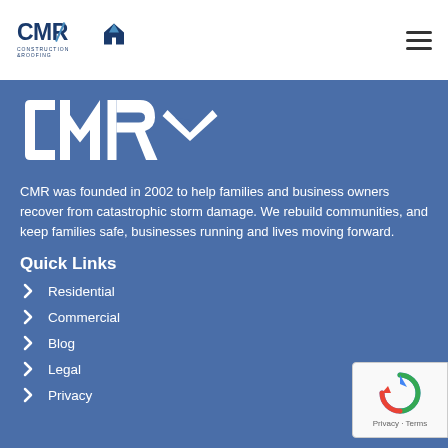[Figure (logo): CMR Construction & Roofing logo in top nav bar, dark blue text]
[Figure (logo): Large white CMR Construction & Roofing logo on blue background]
CMR was founded in 2002 to help families and business owners recover from catastrophic storm damage. We rebuild communities, and keep families safe, businesses running and lives moving forward.
Quick Links
Residential
Commercial
Blog
Legal
Privacy